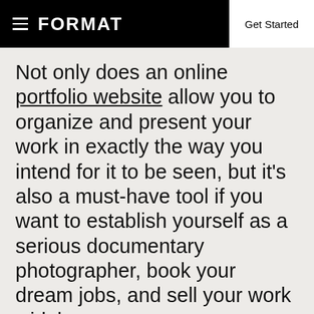FORMAT   Get Started
Not only does an online portfolio website allow you to organize and present your work in exactly the way you intend for it to be seen, but it’s also a must-have tool if you want to establish yourself as a serious documentary photographer, book your dream jobs, and sell your work widely.
Create your own portfolio website with Format today.
Plus, get FREE access to our exclusive Photography Business Masterclass Course
Start Your Free Trial